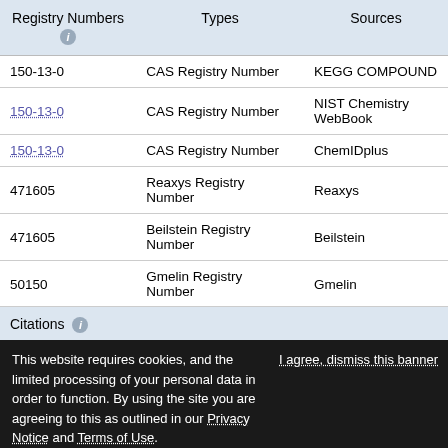| Registry Numbers | Types | Sources |
| --- | --- | --- |
| 150-13-0 | CAS Registry Number | KEGG COMPOUND |
| 150-13-0 | CAS Registry Number | NIST Chemistry WebBook |
| 150-13-0 | CAS Registry Number | ChemIDplus |
| 471605 | Reaxys Registry Number | Reaxys |
| 471605 | Beilstein Registry Number | Beilstein |
| 50150 | Gmelin Registry Number | Gmelin |
Citations
This website requires cookies, and the limited processing of your personal data in order to function. By using the site you are agreeing to this as outlined in our Privacy Notice and Terms of Use.